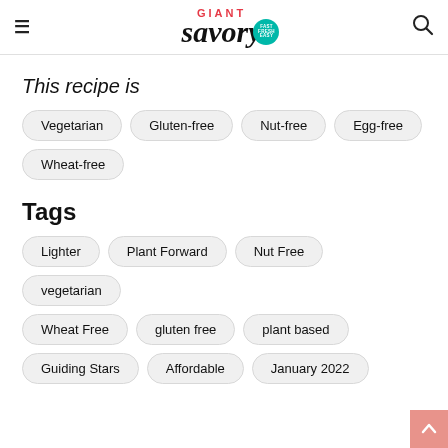GIANT savory FAST FRESH EASY
This recipe is
Vegetarian
Gluten-free
Nut-free
Egg-free
Wheat-free
Tags
Lighter
Plant Forward
Nut Free
vegetarian
Wheat Free
gluten free
plant based
Guiding Stars
Affordable
January 2022